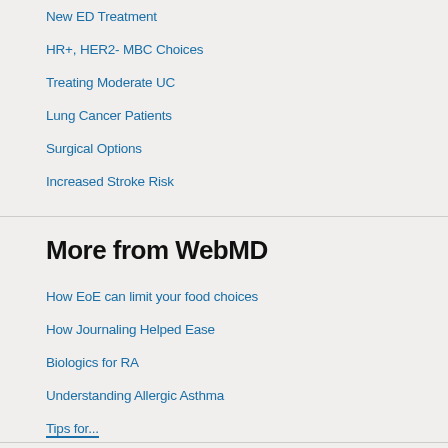New ED Treatment
HR+, HER2- MBC Choices
Treating Moderate UC
Lung Cancer Patients
Surgical Options
Increased Stroke Risk
More from WebMD
How EoE can limit your food choices
How Journaling Helped Ease
Biologics for RA
Understanding Allergic Asthma
Tips for...
ADVERTISEMENT